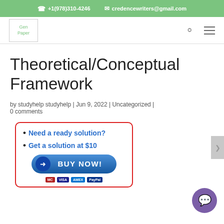+1(978)310-4246   credencewriters@gmail.com
[Figure (logo): Gen Paper logo placeholder]
Theoretical/Conceptual Framework
by studyhelp studyhelp | Jun 9, 2022 | Uncategorized | 0 comments
[Figure (infographic): Promotional box with red border: bullet points 'Need a ready solution?' and 'Get a solution at $10', a blue BUY NOW button with arrow, and payment icons for MasterCard, Visa, Amex, PayPal]